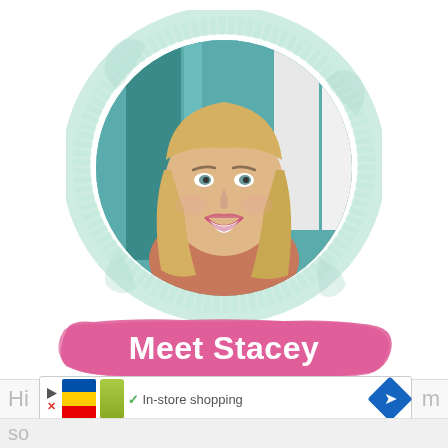[Figure (photo): Circular portrait photo of a smiling blonde woman named Stacey, framed by a watercolor mint/teal brushstroke circle border]
Meet Stacey
Hi [partial] m
In-store shopping
so [partial]